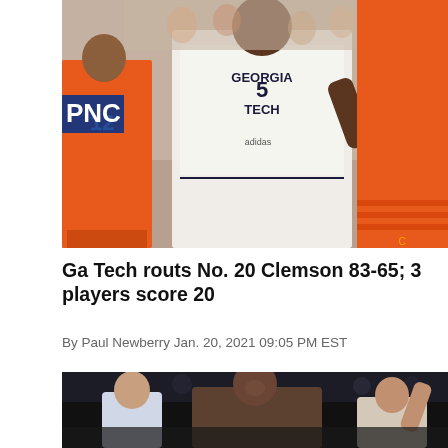[Figure (photo): Basketball game photo showing a Georgia Tech player (number 5) in white uniform celebrating with fist pump, flanked by Clemson players in orange uniforms (numbers 12 and 24). Arena crowd visible in background with PNC signage.]
Ga Tech routs No. 20 Clemson 83-65; 3 players score 20
By Paul Newberry Jan. 20, 2021 09:05 PM EST
[Figure (photo): Basketball game photo showing players fighting for the ball in a dark arena setting, with one player in white and another in a light colored uniform, crowd visible in background.]